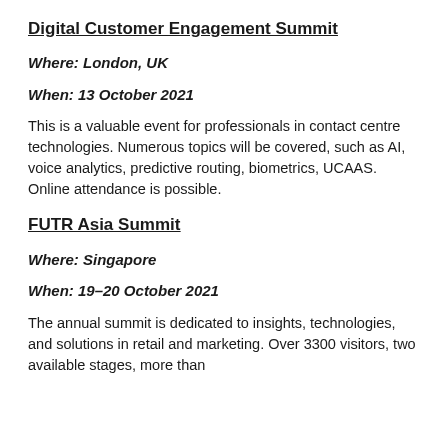Digital Customer Engagement Summit
Where: London, UK
When: 13 October 2021
This is a valuable event for professionals in contact centre technologies. Numerous topics will be covered, such as AI, voice analytics, predictive routing, biometrics, UCAAS. Online attendance is possible.
FUTR Asia Summit
Where: Singapore
When: 19–20 October 2021
The annual summit is dedicated to insights, technologies, and solutions in retail and marketing. Over 3300 visitors, two available stages, more than